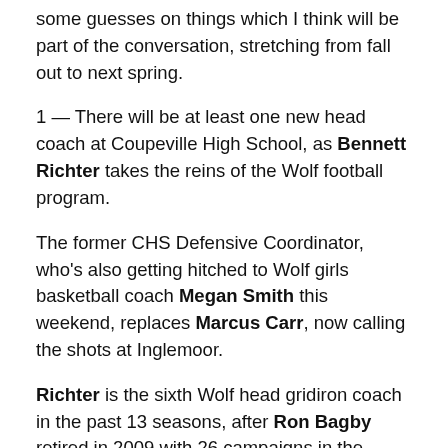some guesses on things which I think will be part of the conversation, stretching from fall out to next spring.
1 — There will be at least one new head coach at Coupeville High School, as Bennett Richter takes the reins of the Wolf football program.
The former CHS Defensive Coordinator, who's also getting hitched to Wolf girls basketball coach Megan Smith this weekend, replaces Marcus Carr, now calling the shots at Inglemoor.
Richter is the sixth Wolf head gridiron coach in the past 13 seasons, after Ron Bagby retired in 2009 with 26 campaigns in the record book.
2 — Meanwhile Cory Whitmore enters his seventh year as CHS varsity volleyball coach.